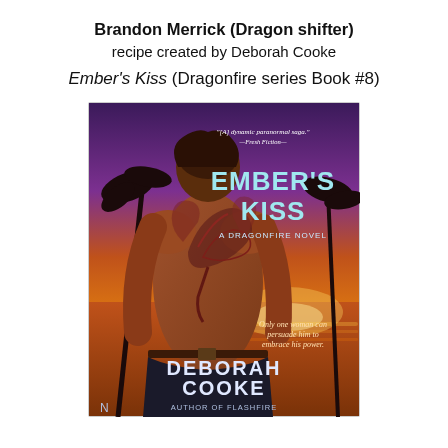Brandon Merrick (Dragon shifter)
recipe created by Deborah Cooke
Ember's Kiss (Dragonfire series Book #8)
[Figure (photo): Book cover of 'Ember's Kiss' by Deborah Cooke — A Dragonfire Novel. Shows a shirtless man with a dragon tattoo on his back, standing against a tropical sunset background with purple and orange hues. Text on cover reads: 'Ember's Kiss', 'A Dragonfire Novel', 'Deborah Cooke', 'Author of Flashfire', '[A] dynamic paranormal saga. —Fresh Fiction', 'Only one woman can persuade him to embrace his power.']